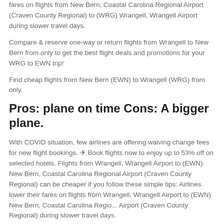fares on flights from New Bern, Coastal Carolina Regional Airport (Craven County Regional) to (WRG) Wrangell, Wrangell Airport during slower travel days.
Compare & reserve one-way or return flights from Wrangell to New Bern from only to get the best flight deals and promotions for your WRG to EWN trip!
Find cheap flights from New Bern (EWN) to Wrangell (WRG) from only.
Pros: plane on time Cons: A bigger plane.
With COVID situation, few airlines are offering waiving change fees for new flight bookings. ✈ Book flights now to enjoy up to 53% off on selected hotels. Flights from Wrangell, Wrangell Airport to (EWN) New Bern, Coastal Carolina Regional Airport (Craven County Regional) can be cheaper if you follow these simple tips: Airlines lower their fares on flights from Wrangell, Wrangell Airport to (EWN) New Bern, Coastal Carolina Regional Airport (Craven County Regional) during slower travel days.